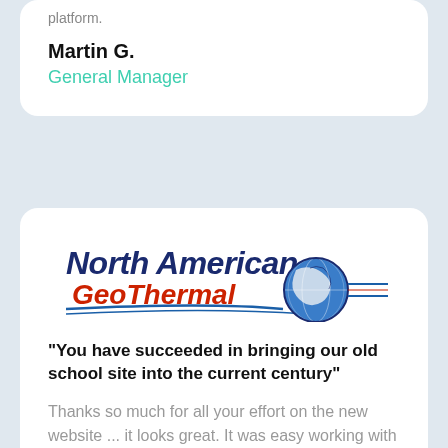platform.
Martin G.
General Manager
[Figure (logo): North American GeoThermal logo with globe graphic, blue and red text]
"You have succeeded in bringing our old school site into the current century"
Thanks so much for all your effort on the new website ... it looks great. It was easy working with you to get all the specifics I